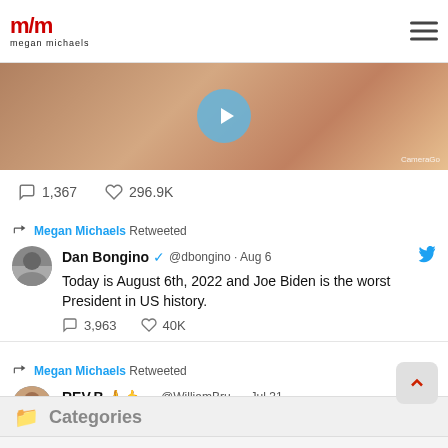m/m megan michaels
[Figure (photo): Video thumbnail showing a hand writing/drawing on paper, with a blue play button overlay. CameraGo watermark in bottom right.]
1,367  296.9K
Megan Michaels Retweeted
Dan Bongino ✓ @dbongino · Aug 6
Today is August 6th, 2022 and Joe Biden is the worst President in US history.
3,963  40K
Megan Michaels Retweeted
REV.B 🙏🤙... @WilliamBru... · Jul 31
Retweet this if you are ready for some Alabama
Categories